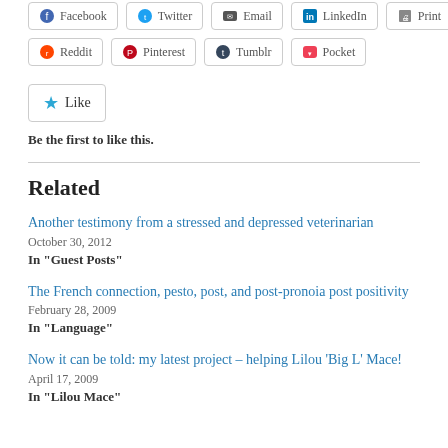[Figure (other): Social sharing buttons row 1: Facebook, Twitter, Email, LinkedIn, Print]
[Figure (other): Social sharing buttons row 2: Reddit, Pinterest, Tumblr, Pocket]
[Figure (other): Like button with star icon]
Be the first to like this.
Related
Another testimony from a stressed and depressed veterinarian
October 30, 2012
In "Guest Posts"
The French connection, pesto, post, and post-pronoia post positivity
February 28, 2009
In "Language"
Now it can be told: my latest project – helping Lilou 'Big L' Mace!
April 17, 2009
In "Lilou Mace"